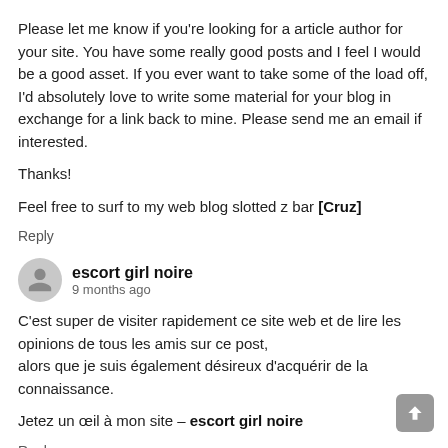Please let me know if you're looking for a article author for your site. You have some really good posts and I feel I would be a good asset. If you ever want to take some of the load off, I'd absolutely love to write some material for your blog in exchange for a link back to mine. Please send me an email if interested.

Thanks!

Feel free to surf to my web blog slotted z bar [Cruz]
Reply
escort girl noire
9 months ago
C'est super de visiter rapidement ce site web et de lire les opinions de tous les amis sur ce post,
alors que je suis également désireux d'acquérir de la connaissance.

Jetez un œil à mon site – escort girl noire
Reply